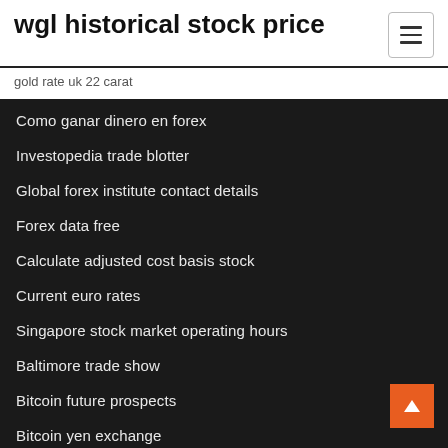wgl historical stock price
gold rate uk 22 carat
Como ganar dinero en forex
Investopedia trade blotter
Global forex institute contact details
Forex data free
Calculate adjusted cost basis stock
Current euro rates
Singapore stock market operating hours
Baltimore trade show
Bitcoin future prospects
Bitcoin yen exchange